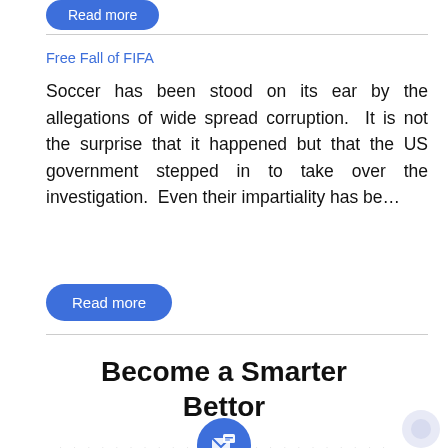Read more
Free Fall of FIFA
Soccer has been stood on its ear by the allegations of wide spread corruption. It is not the surprise that it happened but that the US government stepped in to take over the investigation. Even their impartiality has be…
Read more
Become a Smarter Bettor
[Figure (illustration): Blue circle icon with envelope/mail symbol, flanked by dotted lines on each side]